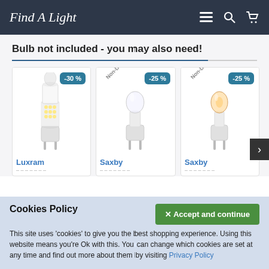Find A Light
Bulb not included - you may also need!
[Figure (photo): Product card: Luxram G9 LED bulb with -30% discount badge]
[Figure (photo): Product card: Saxby G9 bulb Non-Dimmable with -25% discount badge]
[Figure (photo): Product card: Saxby G9 bulb Non-Dimmable with -25% discount badge]
Cookies Policy
This site uses 'cookies' to give you the best shopping experience. Using this website means you're Ok with this. You can change which cookies are set at any time and find out more about them by visiting Privacy Policy